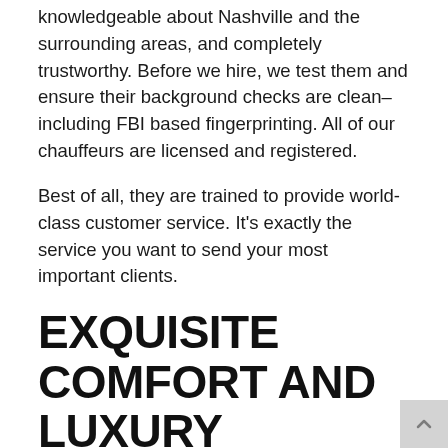knowledgeable about Nashville and the surrounding areas, and completely trustworthy. Before we hire, we test them and ensure their background checks are clean–including FBI based fingerprinting. All of our chauffeurs are licensed and registered.
Best of all, they are trained to provide world-class customer service. It's exactly the service you want to send your most important clients.
EXQUISITE COMFORT AND LUXURY
If your client has just arrived by airplane, there's a good chance he or she doesn't want to spend any more time cooped up in a moving vehicle; but when they must, they must. Even first-class passengers